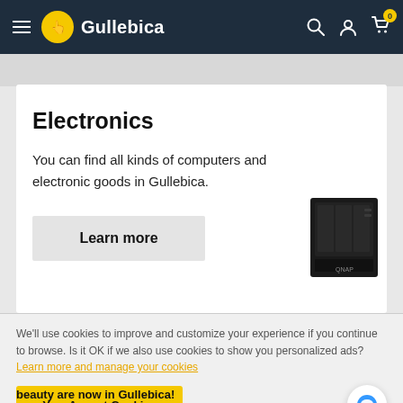Gullebica
Electronics
You can find all kinds of computers and electronic goods in Gullebica.
Learn more
[Figure (photo): Black QNAP NAS device product image]
We'll use cookies to improve and customize your experience if you continue to browse. Is it OK if we also use cookies to show you personalized ads? Learn more and manage your cookies
Yes, Accept Cookies
beauty are now in Gullebica!